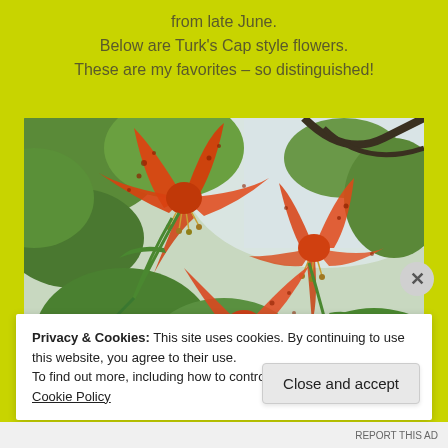from late June.
Below are Turk's Cap style flowers.
These are my favorites – so distinguished!
[Figure (photo): Close-up photograph of orange-red Turk's Cap style lily flowers with spotted petals curled backward, with green foliage and sky in background]
Privacy & Cookies: This site uses cookies. By continuing to use this website, you agree to their use.
To find out more, including how to control cookies, see here: Cookie Policy
Close and accept
REPORT THIS AD